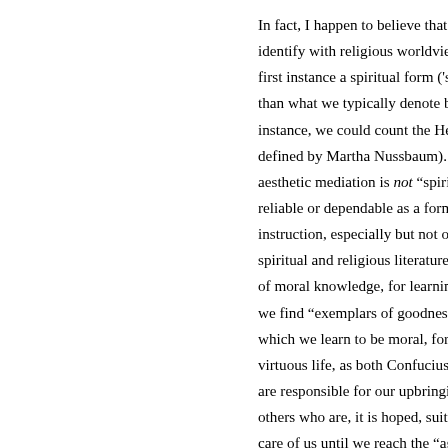In fact, I happen to believe that for many people who identify with religious worldviews, there is in the first instance a spiritual form ('spiritual' in a broader sense than what we typically denote by the term). In this instance, we could count the Hellenistic philosophies (as defined by Martha Nussbaum). Furthermore, if aesthetic mediation is not "spiritual" in this sense, it is reliable or dependable as a form or mode of moral instruction, especially but not only when spiritual and religious literature is ideally suited as a source of moral knowledge, for learning what is good, where we find "exemplars of goodness." It is through imitation which we learn to be moral, for we observe those living a virtuous life, as both Confucius and Plato note, and those who are responsible for our upbringing: our parents, and others who are, it is hoped, suitable "role models" who take care of us until we reach the "age of reason."